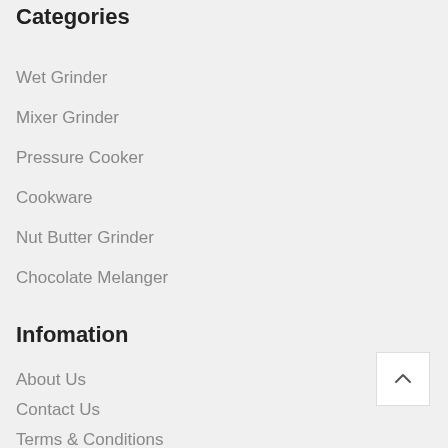Categories
Wet Grinder
Mixer Grinder
Pressure Cooker
Cookware
Nut Butter Grinder
Chocolate Melanger
Infomation
About Us
Contact Us
Terms & Conditions